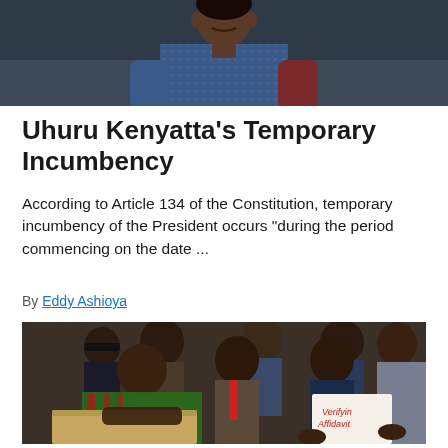[Figure (photo): Close-up photo of a man in a blue patterned shirt, cropped at chest/shoulder level, dark background]
Uhuru Kenyatta's Temporary Incumbency
According to Article 134 of the Constitution, temporary incumbency of the President occurs "during the period commencing on the date ...
By Eddy Ashioya
[Figure (photo): Group of people at what appears to be an official gathering; a woman in a green and red outfit leans over a box/surface, while a man on the right holds up a piece of paper with handwritten text reading 'Verifying Affidavit'. Several people stand in the background.]